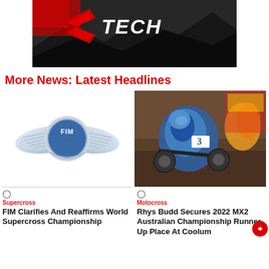[Figure (photo): R-Tech logo banner with dark background showing dirt/motocross imagery and R-Tech brand logo in red and white]
More News: Latest Headlines
[Figure (logo): FIM (Fédération Internationale de Motocyclisme) logo — silver wings with blue circular badge]
⊙
Supercross
FIM Clarifies And Reaffirms World Supercross Championship
[Figure (photo): Motocross rider wearing blue and white gear with number 3, racing on a dirt track]
⊙
Motocross
Rhys Budd Secures 2022 MX2 Australian Championship Runner-Up Place At Coolum